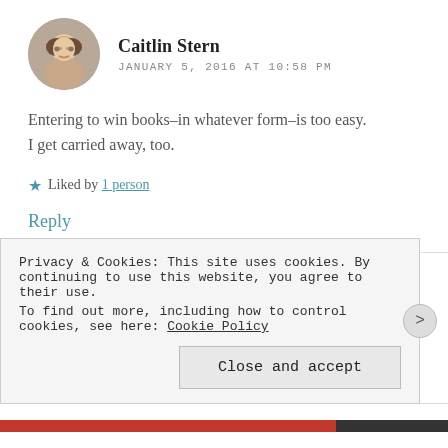Caitlin Stern
JANUARY 5, 2016 AT 10:58 PM
Entering to win books–in whatever form–is too easy. I get carried away, too.
★ Liked by 1 person
Reply
Erika @ Booksthething.com
Privacy & Cookies: This site uses cookies. By continuing to use this website, you agree to their use.
To find out more, including how to control cookies, see here: Cookie Policy
Close and accept